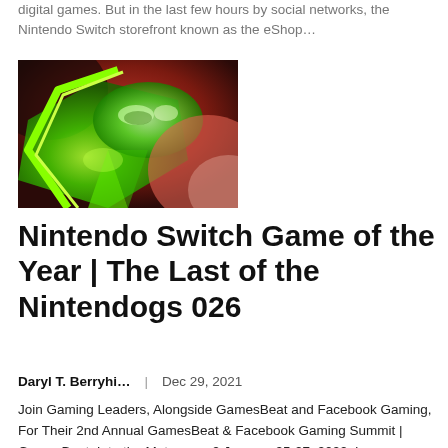digital games. But in the last few hours by social networks, the Nintendo Switch storefront known as the eShop…
[Figure (photo): Close-up stylized image of Samus from Metroid, showing green visor and red/green armor with bright colors]
Nintendo Switch Game of the Year | The Last of the Nintendogs 026
Daryl T. Berryhi…    Dec 29, 2021
Join Gaming Leaders, Alongside GamesBeat and Facebook Gaming, For Their 2nd Annual GamesBeat & Facebook Gaming Summit | GamesBeat: Into the Metaverse 2 January 25-27, 2022. Learn more about the event What are the…